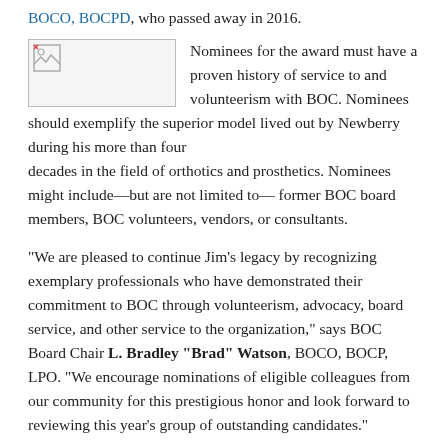BOCO, BOCPD, who passed away in 2016.
[Figure (photo): Broken image placeholder (small image icon with border)]
Nominees for the award must have a proven history of service to and volunteerism with BOC. Nominees should exemplify the superior model lived out by Newberry during his more than four decades in the field of orthotics and prosthetics. Nominees might include—but are not limited to— former BOC board members, BOC volunteers, vendors, or consultants.
“We are pleased to continue Jim’s legacy by recognizing exemplary professionals who have demonstrated their commitment to BOC through volunteerism, advocacy, board service, and other service to the organization,” says BOC Board Chair L. Bradley “Brad” Watson, BOCO, BOCP, LPO. “We encourage nominations of eligible colleagues from our community for this prestigious honor and look forward to reviewing this year’s group of outstanding candidates.”